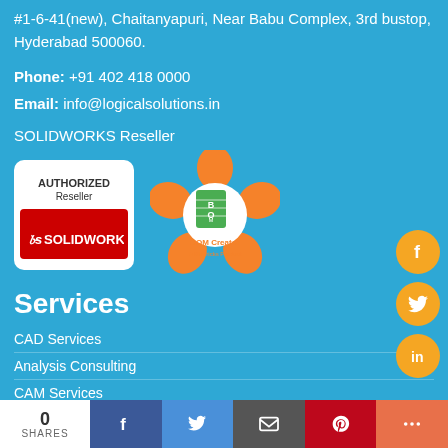#1-6-41(new), Chaitanyapuri, Near Babu Complex, 3rd bustop, Hyderabad 500060.
Phone: +91 402 418 0000
Email: info@logicalsolutions.in
SOLIDWORKS Reseller
[Figure (logo): SOLIDWORKS Authorized Reseller badge and BOM Creator logo]
Services
CAD Services
Analysis Consulting
CAM Services
Product Data Management Services
Documentation Services
0 SHARES | Facebook | Twitter | Email | Pinterest | More